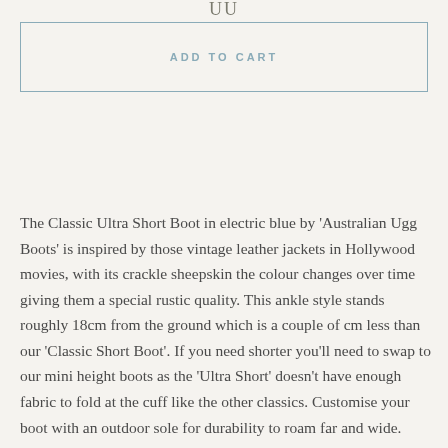UU
ADD TO CART
The Classic Ultra Short Boot in electric blue by 'Australian Ugg Boots' is inspired by those vintage leather jackets in Hollywood movies, with its crackle sheepskin the colour changes over time giving them a special rustic quality. This ankle style stands roughly 18cm from the ground which is a couple of cm less than our 'Classic Short Boot'. If you need shorter you'll need to swap to our mini height boots as the 'Ultra Short' doesn't have enough fabric to fold at the cuff like the other classics. Customise your boot with an outdoor sole for durability to roam far and wide.